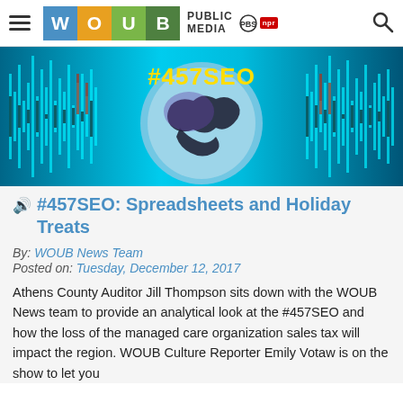WOUB PUBLIC MEDIA | PBS | NPR
[Figure (illustration): Colorful podcast artwork for #457SEO showing sound waveforms in teal/cyan with a stylized globe/world map graphic and bold yellow text reading #457SEO on a bright blue background.]
#457SEO: Spreadsheets and Holiday Treats
By: WOUB News Team
Posted on: Tuesday, December 12, 2017
Athens County Auditor Jill Thompson sits down with the WOUB News team to provide an analytical look at the #457SEO and how the loss of the managed care organization sales tax will impact the region. WOUB Culture Reporter Emily Votaw is on the show to let you